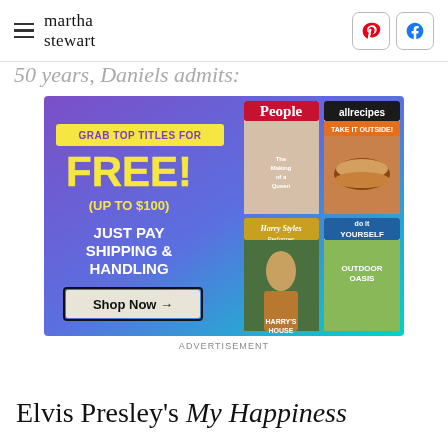martha stewart
50 years, Daniels admits:
[Figure (screenshot): Advertisement banner: gradient purple to teal background. Left side text: 'GRAB TOP TITLES FOR FREE! (UP TO $100) JUST PAY SHIPPING & HANDLING' with a 'Shop Now →' button. Right side shows 4 magazine covers: People (The Making of a Queen), allrecipes (Take It Outside!), Harry's House, and Do It Yourself (Outdoor Oasis).]
ADVERTISEMENT
Elvis Presley's My Happiness